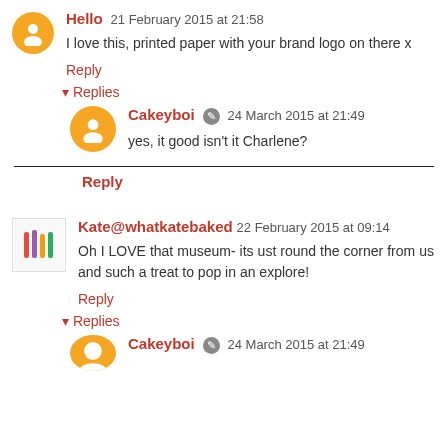Hello 21 February 2015 at 21:58
I love this, printed paper with your brand logo on there x
Reply
Replies
Cakeyboi  24 March 2015 at 21:49
yes, it good isn't it Charlene?
Reply
Kate@whatkatebaked 22 February 2015 at 09:14
Oh I LOVE that museum- its ust round the corner from us and such a treat to pop in an explore!
Reply
Replies
Cakeyboi  24 March 2015 at 21:49